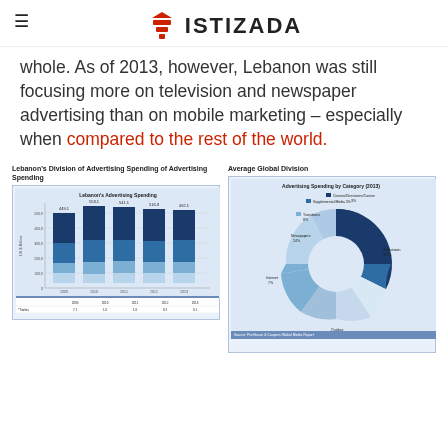IstiZada
whole. As of 2013, however, Lebanon was still focusing more on television and newspaper advertising than on mobile marketing – especially when compared to the rest of the world.
[Figure (stacked-bar-chart): Stacked bar chart showing Lebanon's advertising spending by category across multiple years (2009–2013), with a data table below.]
[Figure (donut-chart): Donut chart showing average global division of advertising spending by category in 2013, with segments for Television, Cinema, Newspapers, Magazines, Radio, Outdoor, and Internet.]